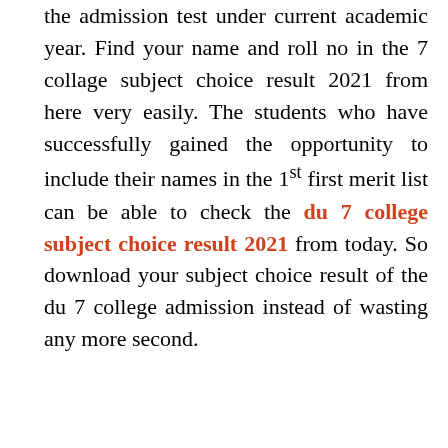the admission test under current academic year. Find your name and roll no in the 7 collage subject choice result 2021 from here very easily. The students who have successfully gained the opportunity to include their names in the 1st first merit list can be able to check the du 7 college subject choice result 2021 from today. So download your subject choice result of the du 7 college admission instead of wasting any more second.